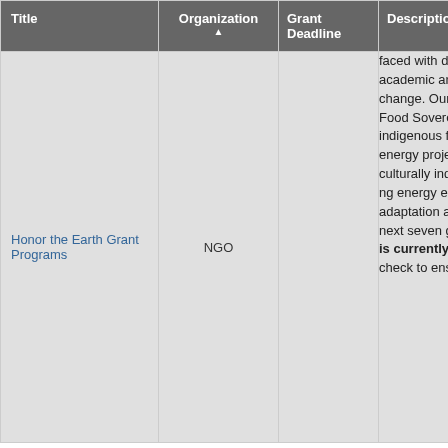| Title | Organization ▲ | Grant Deadline | Description |
| --- | --- | --- | --- |
| Honor the Earth Grant Programs | NGO |  | faced with daunting environmental realities. Resilience theory is academic and environmental how communities and societies climate change. Our Building Indigenous Communities Initiative two areas: Food Sovereignty Justice. In specific, Honor the restoration of indigenous food Native communities, and Energy and renewable energy projects communities. We work to support the development of culturally indigenous solutions to climate peak oil based on re-localizing energy economies. We also restoration of traditional knowledge adaptation and mitigation strategies safe and healthy future for our the next seven generations. is currently accepting applications on an ongoing basis. Please check to ensure you the have the most... |